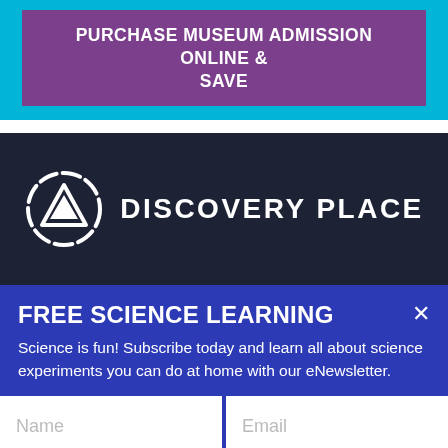PURCHASE MUSEUM ADMISSION ONLINE & SAVE
[Figure (logo): Discovery Place logo: white circle with triangle/arrow icon and text DISCOVERY PLACE]
FREE SCIENCE LEARNING
Science is fun! Subscribe today and learn all about science experiments you can do at home with our eNewsletter.
→ GET FREE LEARNING